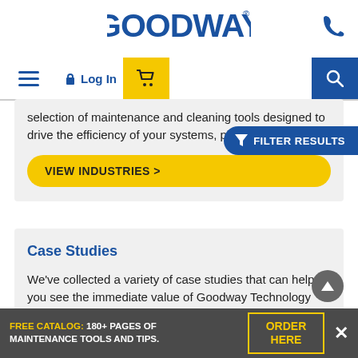[Figure (logo): Goodway logo in blue bold text with registered trademark symbol]
Log In | Cart | Search
selection of maintenance and cleaning tools designed to drive the efficiency of your systems, plants, and facilities.
FILTER RESULTS
VIEW INDUSTRIES >
Case Studies
We've collected a variety of case studies that can help you see the immediate value of Goodway Technology solutions in your business.
FREE CATALOG: 180+ PAGES OF MAINTENANCE TOOLS AND TIPS. ORDER HERE